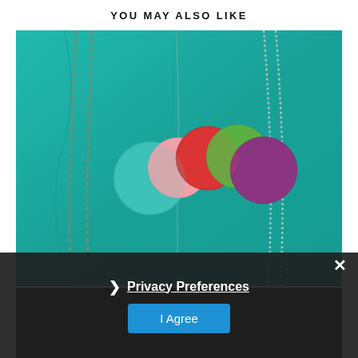YOU MAY ALSO LIKE
[Figure (photo): Colorful felt circles (teal, pink, red, green, purple) arranged on a teal fabric background with metal chain necklaces and a beaded necklace]
Privacy Preferences
I Agree